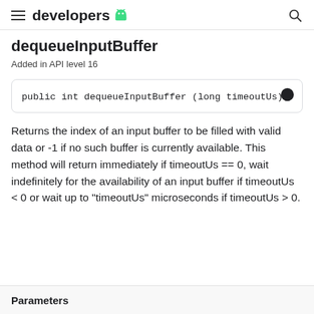developers
dequeueInputBuffer
Added in API level 16
public int dequeueInputBuffer (long timeoutUs)
Returns the index of an input buffer to be filled with valid data or -1 if no such buffer is currently available. This method will return immediately if timeoutUs == 0, wait indefinitely for the availability of an input buffer if timeoutUs < 0 or wait up to "timeoutUs" microseconds if timeoutUs > 0.
Parameters